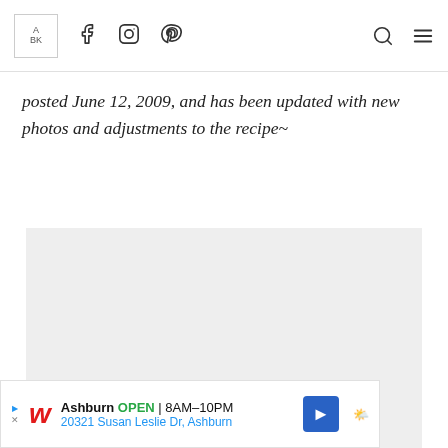ABK | Facebook | Instagram | Pinterest | Search | Menu
posted June 12, 2009, and has been updated with new photos and adjustments to the recipe~
[Figure (photo): Placeholder image area with loading dots]
[Figure (other): Advertisement banner: Walgreens Ashburn OPEN 8AM-10PM, 20321 Susan Leslie Dr, Ashburn]